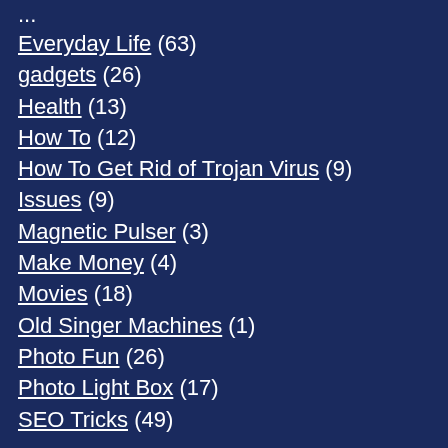Everyday Life (63)
gadgets (26)
Health (13)
How To (12)
How To Get Rid of Trojan Virus (9)
Issues (9)
Magnetic Pulser (3)
Make Money (4)
Movies (18)
Old Singer Machines (1)
Photo Fun (26)
Photo Light Box (17)
SEO Tricks (49)